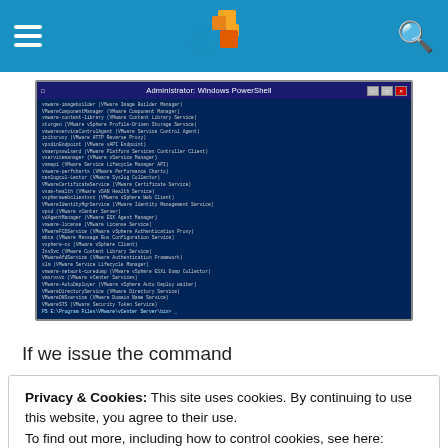Header with hamburger menu, logo, and search icon
[Figure (screenshot): Windows PowerShell window titled 'Administrator: Windows PowerShell' showing a list of VMware services and components in dark blue terminal]
If we issue the command
Privacy & Cookies: This site uses cookies. By continuing to use this website, you agree to their use.
To find out more, including how to control cookies, see here: Cookie Policy
Close and accept
[Figure (screenshot): Bottom portion of another Windows PowerShell window showing a command line]